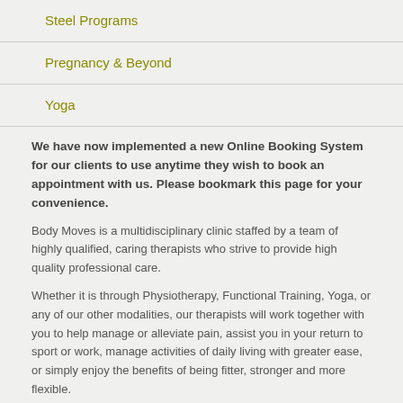Steel Programs
Pregnancy & Beyond
Yoga
We have now implemented a new Online Booking System for our clients to use anytime they wish to book an appointment with us. Please bookmark this page for your convenience.
Body Moves is a multidisciplinary clinic staffed by a team of highly qualified, caring therapists who strive to provide high quality professional care.
Whether it is through Physiotherapy, Functional Training, Yoga, or any of our other modalities, our therapists will work together with you to help manage or alleviate pain, assist you in your return to sport or work, manage activities of daily living with greater ease, or simply enjoy the benefits of being fitter, stronger and more flexible.